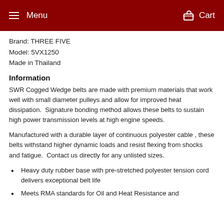Menu   Cart
Brand: THREE FIVE
Model: 5VX1250
Made in Thailand
Information
SWR Cogged Wedge belts are made with premium materials that work well with small diameter pulleys and allow for improved heat dissipation.  Signature bonding method allows these belts to sustain high power transmission levels at high engine speeds.
Manufactured with a durable layer of continuous polyester cable , these belts withstand higher dynamic loads and resist flexing from shocks and fatigue.  Contact us directly for any unlisted sizes.
Heavy duty rubber base with pre-stretched polyester tension cord delivers exceptional belt life
Meets RMA standards for Oil and Heat Resistance and